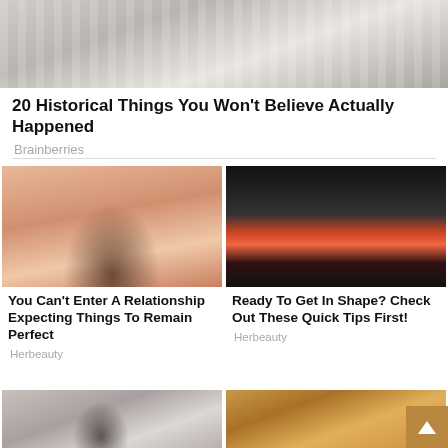[Figure (photo): Black and white historical photo of people, cropped at top]
20 Historical Things You Won't Believe Actually Happened
Brainberries
[Figure (photo): Young woman with long dark hair looking down, warm lighting]
You Can't Enter A Relationship Expecting Things To Remain Perfect
Herbeauty
[Figure (photo): Person doing a plank exercise on a colorful mat on dark background]
Ready To Get In Shape? Check Out These Quick Tips First!
Herbeauty
[Figure (photo): Close-up of a woman with dark hair and a bindi]
[Figure (photo): Man and woman in a TV show setting with warm toned background]